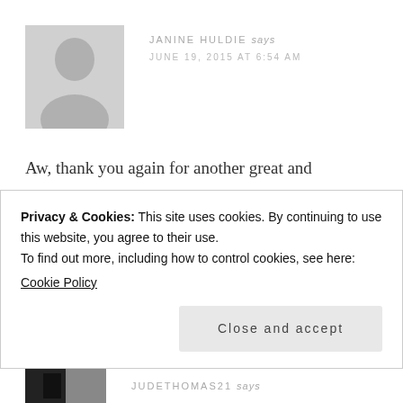[Figure (photo): Grey placeholder avatar silhouette image for user Janine Huldie]
JANINE HULDIE says
JUNE 19, 2015 AT 6:54 AM
Aw, thank you again for another great and awesome giveaway this month. Hugs and ave a great weekend now, Katie!! xoxo 😉
Privacy & Cookies: This site uses cookies. By continuing to use this website, you agree to their use.
To find out more, including how to control cookies, see here:
Cookie Policy
Close and accept
JUDETHOMAS21 says